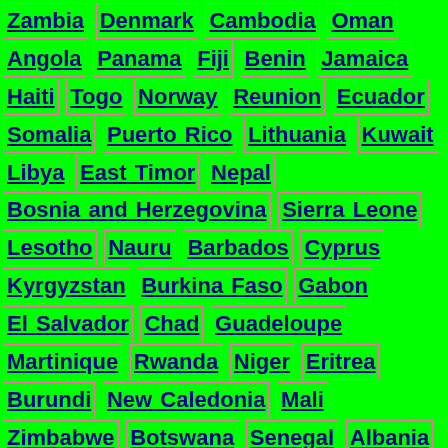Zambia Denmark Cambodia Oman Angola Panama Fiji Benin Jamaica Haiti Togo Norway Reunion Ecuador Somalia Puerto Rico Lithuania Kuwait Libya East Timor Nepal Bosnia and Herzegovina Sierra Leone Lesotho Nauru Barbados Cyprus Kyrgyzstan Burkina Faso Gabon El Salvador Chad Guadeloupe Martinique Rwanda Niger Eritrea Burundi New Caledonia Mali Zimbabwe Botswana Senegal Albania Palestinian Territory Mauritania Bhutan Paraguay Gibraltar Faroe Islands Bolivia Latvia Taiwan Djibouti Estonia Belize Gambia Republic of the Congo Guam Namibia Christmas Island French Guiana Guyana South Sudan Guinea-Bissau Aruba Bahamas Georgia Western Sahara Montenegro Brunei Qatar Hong Kong Tonga San Marino Vanuatu Monaco Iceland Turks and Caicos Islands
karakovski.ru © - 2019 UP
Joomla! Open Source Content Management